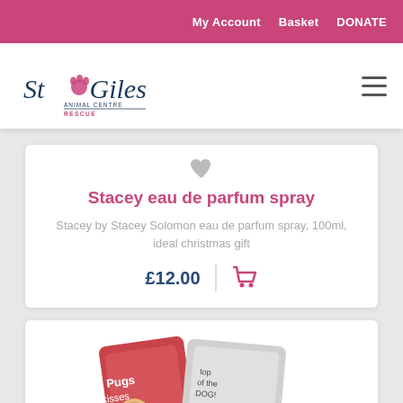My Account  Basket  DONATE
[Figure (logo): St Giles Animal Centre Rescue logo with paw print]
Stacey eau de parfum spray
Stacey by Stacey Solomon eau de parfum spray, 100ml, ideal christmas gift
£12.00
[Figure (photo): Partial view of card games including 'Pugs and Kisses' and 'Top of the Dog' cards]